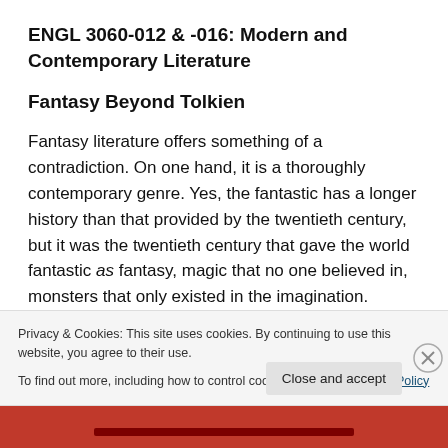ENGL 3060-012 & -016: Modern and Contemporary Literature
Fantasy Beyond Tolkien
Fantasy literature offers something of a contradiction. On one hand, it is a thoroughly contemporary genre. Yes, the fantastic has a longer history than that provided by the twentieth century, but it was the twentieth century that gave the world fantastic as fantasy, magic that no one believed in, monsters that only existed in the imagination.
Privacy & Cookies: This site uses cookies. By continuing to use this website, you agree to their use.
To find out more, including how to control cookies, see here: Cookie Policy